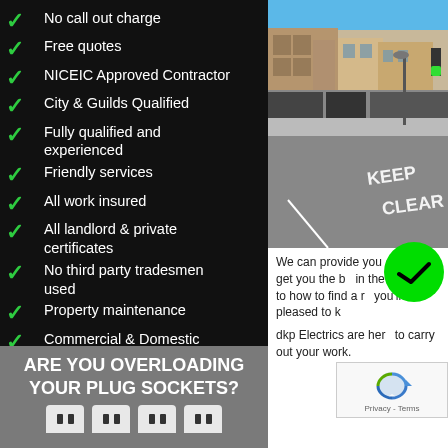No call out charge
Free quotes
NICEIC Approved Contractor
City & Guilds Qualified
Fully qualified and experienced
Friendly services
All work insured
All landlord & private certificates
No third party tradesmen used
Property maintenance
Commercial & Domestic
Part P approved
[Figure (photo): Street scene showing a UK town high street with shops, a road with KEEP CLEAR markings, and a clear blue sky]
We can provide you aim is to get you the b in the dark as to how to find a r you'll be pleased to k
dkp Electrics are her to carry out your work.
ARE YOU OVERLOADING YOUR PLUG SOCKETS?